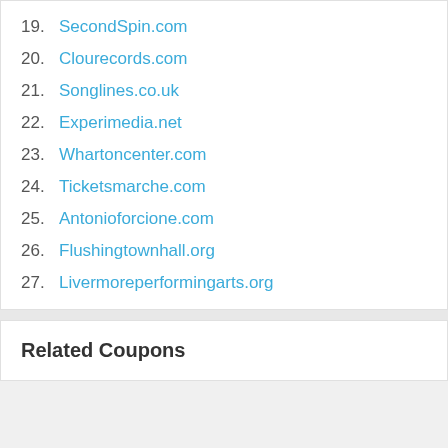19. SecondSpin.com
20. Clourecords.com
21. Songlines.co.uk
22. Experimedia.net
23. Whartoncenter.com
24. Ticketsmarche.com
25. Antonioforcione.com
26. Flushingtownhall.org
27. Livermoreperformingarts.org
Related Coupons